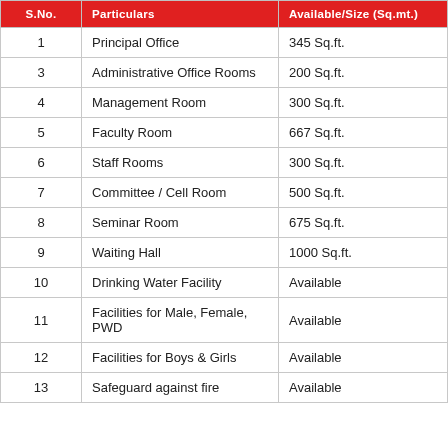| S.No. | Particulars | Available/Size (Sq.mt.) |
| --- | --- | --- |
| 1 | Principal Office | 345 Sq.ft. |
| 3 | Administrative Office Rooms | 200 Sq.ft. |
| 4 | Management Room | 300 Sq.ft. |
| 5 | Faculty Room | 667 Sq.ft. |
| 6 | Staff Rooms | 300 Sq.ft. |
| 7 | Committee / Cell Room | 500 Sq.ft. |
| 8 | Seminar Room | 675 Sq.ft. |
| 9 | Waiting Hall | 1000 Sq.ft. |
| 10 | Drinking Water Facility | Available |
| 11 | Facilities for Male, Female, PWD | Available |
| 12 | Facilities for Boys & Girls | Available |
| 13 | Safeguard against fire | Available |